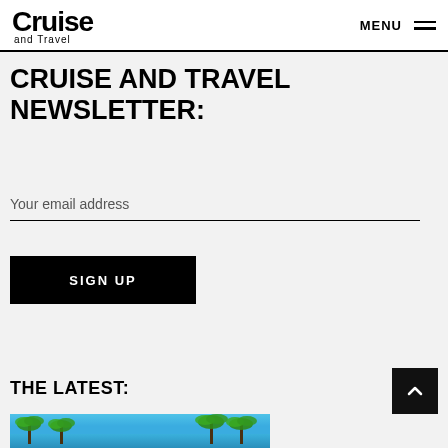Cruise and Travel | MENU
CRUISE AND TRAVEL NEWSLETTER:
Your email address
SIGN UP
THE LATEST:
[Figure (photo): Tropical beach scene with palm trees and blue sky]